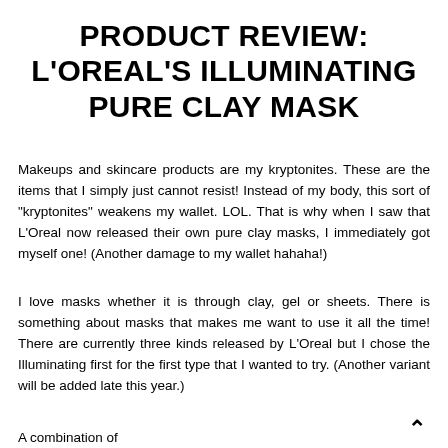PRODUCT REVIEW: L'OREAL'S ILLUMINATING PURE CLAY MASK
Makeups and skincare products are my kryptonites. These are the items that I simply just cannot resist! Instead of my body, this sort of "kryptonites" weakens my wallet. LOL. That is why when I saw that L'Oreal now released their own pure clay masks, I immediately got myself one! (Another damage to my wallet hahaha!)
I love masks whether it is through clay, gel or sheets. There is something about masks that makes me want to use it all the time! There are currently three kinds released by L'Oreal but I chose the Illuminating first for the first type that I wanted to try. (Another variant will be added late this year.)
A combination of...